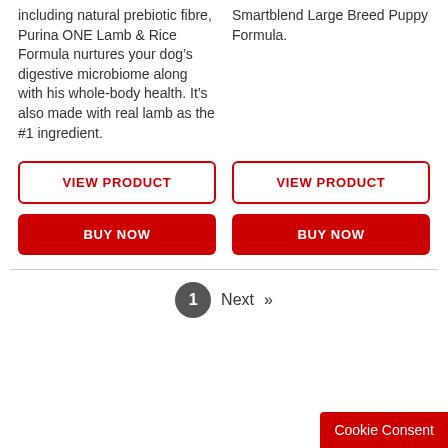including natural prebiotic fibre, Purina ONE Lamb & Rice Formula nurtures your dog's digestive microbiome along with his whole-body health. It's also made with real lamb as the #1 ingredient.
Smartblend Large Breed Puppy Formula.
VIEW PRODUCT
VIEW PRODUCT
BUY NOW
BUY NOW
1  Next  »
Cookie Consent